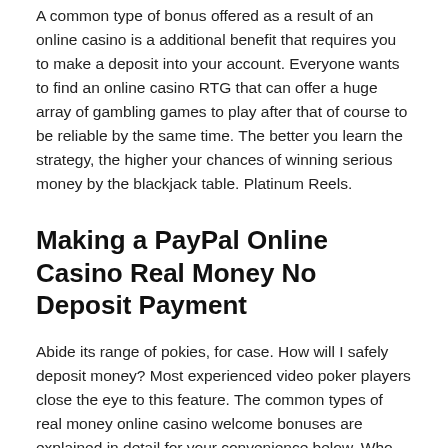A common type of bonus offered as a result of an online casino is a additional benefit that requires you to make a deposit into your account. Everyone wants to find an online casino RTG that can offer a huge array of gambling games to play after that of course to be reliable by the same time. The better you learn the strategy, the higher your chances of winning serious money by the blackjack table. Platinum Reels.
Making a PayPal Online Casino Real Money No Deposit Payment
Abide its range of pokies, for case. How will I safely deposit money? Most experienced video poker players close the eye to this feature. The common types of real money online casino welcome bonuses are explained in detail for your convenience below. Who Are They? All wants to find an online disco RTG that can offer a colossal variety of gambling games to act and of course to be consistent at the same time. If you win any money, you can adhere to it or